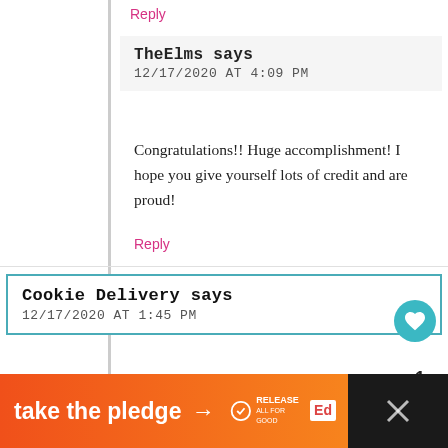Reply
TheElms says
12/17/2020 AT 4:09 PM
Congratulations!! Huge accomplishment! I hope you give yourself lots of credit and are proud!
Reply
Cookie Delivery says
12/17/2020 AT 1:45 PM
Hi All. I need to bounce something off of you. Kiddo (5) and I have been diligently making holiday cookies and candy the last several weeks and storing them in the freezer. Our goal is to deliver little boxes of cookies/candy early next week to some friends and organizations we're involved with in the community.
take the pledge →